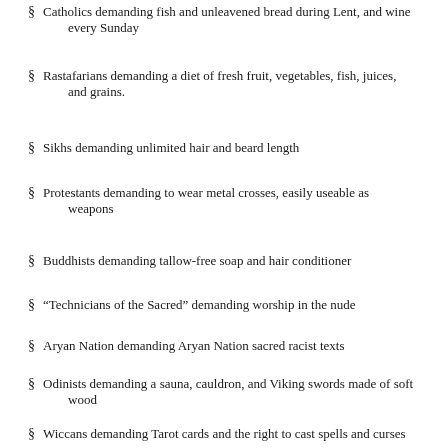Catholics demanding fish and unleavened bread during Lent, and wine every Sunday
Rastafarians demanding a diet of fresh fruit, vegetables, fish, juices, and grains.
Sikhs demanding unlimited hair and beard length
Protestants demanding to wear metal crosses, easily useable as weapons
Buddhists demanding tallow-free soap and hair conditioner
“Technicians of the Sacred” demanding worship in the nude
Aryan Nation demanding Aryan Nation sacred racist texts
Odinists demanding a sauna, cauldron, and Viking swords made of soft wood
Wiccans demanding Tarot cards and the right to cast spells and curses